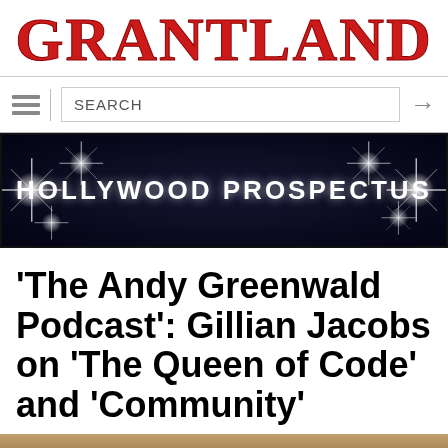GRANTLAND
SEARCH
[Figure (screenshot): Hollywood Prospectus banner — dark background with starburst/flash lights and bold white text reading HOLLYWOOD PROSPECTUS]
'The Andy Greenwald Podcast': Gillian Jacobs on 'The Queen of Code' and 'Community'
[Figure (photo): Bottom-cropped photo of a person, partially visible at the bottom of the page]